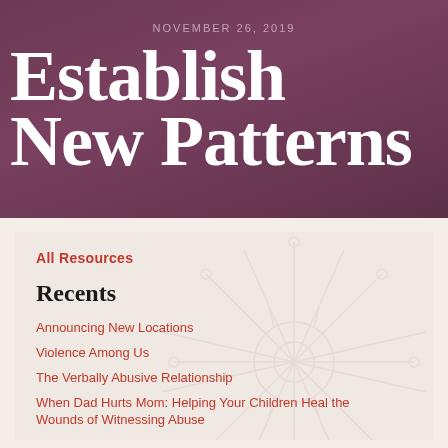NOVEMBER 26, 2019
Establish New Patterns
All Resources
Recents
Announcing New Locations
Violence Among Us
The Verbally Abusive Relationship
When Dad Hurts Mom: Helping Your Children Heal the Wounds of Witnessing Abuse